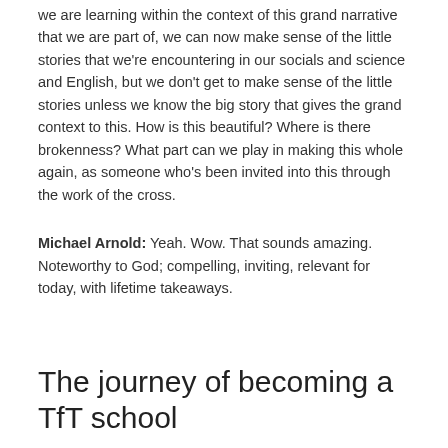we are learning within the context of this grand narrative that we are part of, we can now make sense of the little stories that we're encountering in our socials and science and English, but we don't get to make sense of the little stories unless we know the big story that gives the grand context to this. How is this beautiful? Where is there brokenness? What part can we play in making this whole again, as someone who's been invited into this through the work of the cross.
Michael Arnold: Yeah. Wow. That sounds amazing. Noteworthy to God; compelling, inviting, relevant for today, with lifetime takeaways.
The journey of becoming a TfT school
I think, and you can correct me if I'm wrong here, but it's safe to say that a school shouldn't embark on a TfT